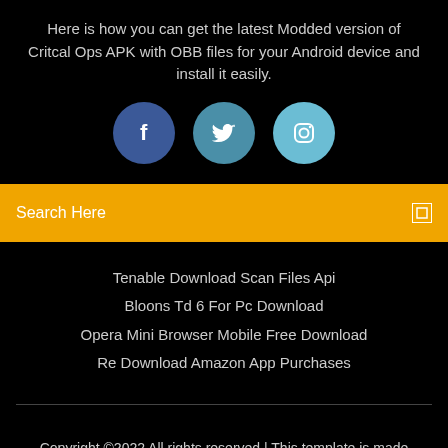Here is how you can get the latest Modded version of Critcal Ops APK with OBB files for your Android device and install it easily.
[Figure (infographic): Three social media icon circles: Facebook (dark blue), Twitter (medium blue-teal), Instagram (light blue)]
Search Here
Tenable Download Scan Files Api
Bloons Td 6 For Pc Download
Opera Mini Browser Mobile Free Download
Re Download Amazon App Purchases
Copyright ©2022 All rights reserved | This template is made with ♡ by Colorlib